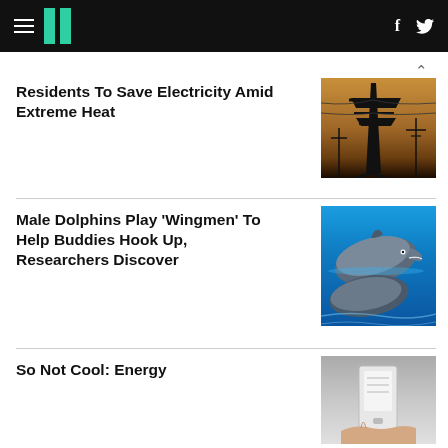HuffPost navigation with hamburger menu, logo, Facebook and Twitter icons
Residents To Save Electricity Amid Extreme Heat
[Figure (photo): Silhouette of electricity pylons/transmission towers against a warm orange-brown sky at dusk]
Male Dolphins Play 'Wingmen' To Help Buddies Hook Up, Researchers Discover
[Figure (photo): Two dolphins leaping out of bright blue water, close-up showing their faces and teeth]
So Not Cool: Energy